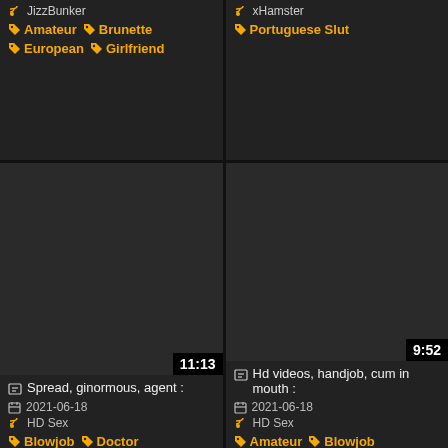JizzBunker
Amateur  Brunette  European  Girlfriend
xHamster
Portuguese Slut
[Figure (screenshot): Dark video thumbnail with duration 11:13]
Spread, ginormous, agent :
2021-06-18
HD Sex
Blowjob  Doctor  Portuguese
[Figure (screenshot): Dark video thumbnail with duration 9:52]
Hd videos, handjob, cum in mouth :
2021-06-18
HD Sex
Amateur  Blowjob  Cum In Mouth  Cumshot
[Figure (screenshot): Dark video thumbnail bottom left]
[Figure (screenshot): Dark video thumbnail bottom right]